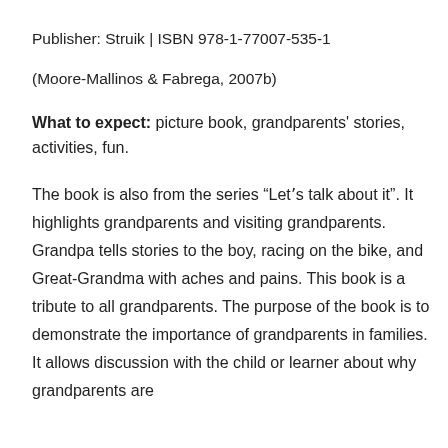Publisher: Struik | ISBN 978-1-77007-535-1
(Moore-Mallinos & Fabrega, 2007b)
What to expect: picture book, grandparents' stories, activities, fun.
The book is also from the series “Letʼs talk about it”. It highlights grandparents and visiting grandparents. Grandpa tells stories to the boy, racing on the bike, and Great-Grandma with aches and pains. This book is a tribute to all grandparents. The purpose of the book is to demonstrate the importance of grandparents in families. It allows discussion with the child or learner about why grandparents are